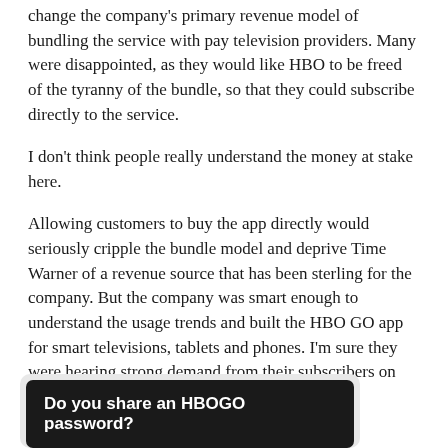change the company's primary revenue model of bundling the service with pay television providers. Many were disappointed, as they would like HBO to be freed of the tyranny of the bundle, so that they could subscribe directly to the service.
I don't think people really understand the money at stake here.
Allowing customers to buy the app directly would seriously cripple the bundle model and deprive Time Warner of a revenue source that has been sterling for the company. But the company was smart enough to understand the usage trends and built the HBO GO app for smart televisions, tablets and phones. I'm sure they were hearing strong demand from their subscribers on the subject.
Do you share an HBOGO password?